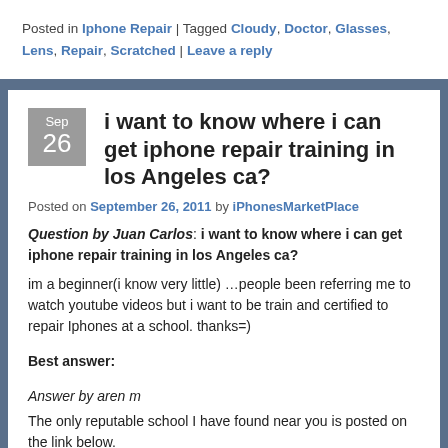Posted in Iphone Repair | Tagged Cloudy, Doctor, Glasses, Lens, Repair, Scratched | Leave a reply
i want to know where i can get iphone repair training in los Angeles ca?
Posted on September 26, 2011 by iPhonesMarketPlace
Question by Juan Carlos: i want to know where i can get iphone repair training in los Angeles ca?
im a beginner(i know very little) …people been referring me to watch youtube videos but i want to be train and certified to repair Iphones at a school. thanks=)
Best answer:
Answer by aren m
The only reputable school I have found near you is posted on the link below.